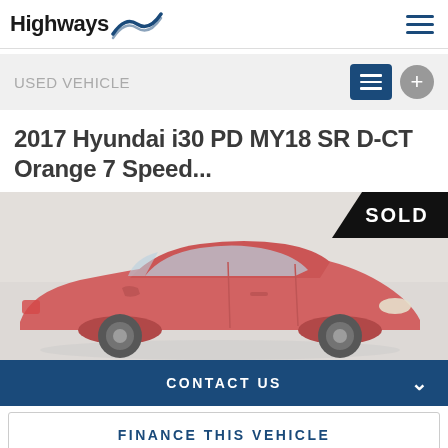Highways
USED VEHICLE
2017 Hyundai i30 PD MY18 SR D-CT Orange 7 Speed...
[Figure (photo): Red Hyundai i30 hatchback photographed from the side in a studio setting. A black triangular 'SOLD' banner is overlaid in the top-right corner of the image.]
CONTACT US
FINANCE THIS VEHICLE